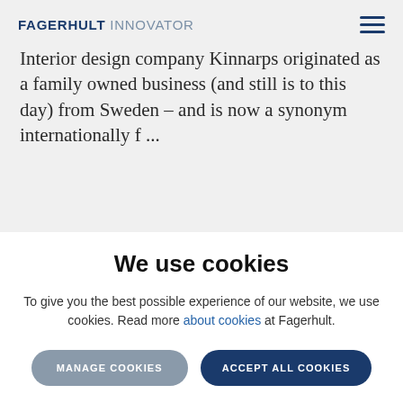FAGERHULT INNOVATOR
Interior design company Kinnarps originated as a family owned business (and still is to this day) from Sweden – and is now a synonym internationally f ...
[Figure (photo): A horizontal strip showing a blurred image, transitioning from light beige/silver tones on the left to dark/black in the center-right area, then to warm tan tones on the right.]
We use cookies
To give you the best possible experience of our website, we use cookies. Read more about cookies at Fagerhult.
MANAGE COOKIES   ACCEPT ALL COOKIES